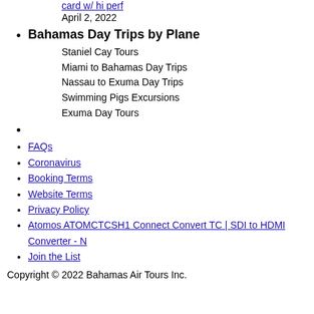card w/ hi perf   April 2, 2022
Bahamas Day Trips by Plane
Staniel Cay Tours
Miami to Bahamas Day Trips
Nassau to Exuma Day Trips
Swimming Pigs Excursions
Exuma Day Tours
FAQs
Coronavirus
Booking Terms
Website Terms
Privacy Policy
Atomos ATOMCTCSH1 Connect Convert TC | SDI to HDMI Converter - N
Join the List
Copyright © 2022 Bahamas Air Tours Inc.